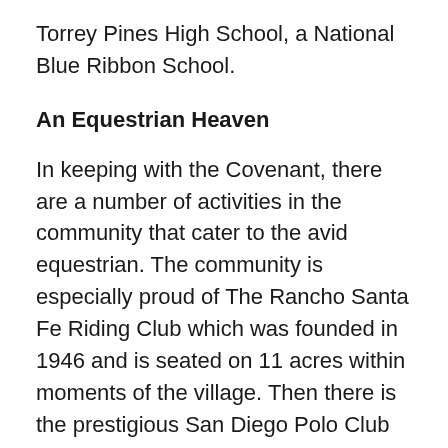Torrey Pines High School, a National Blue Ribbon School.
An Equestrian Heaven
In keeping with the Covenant, there are a number of activities in the community that cater to the avid equestrian. The community is especially proud of The Rancho Santa Fe Riding Club which was founded in 1946 and is seated on 11 acres within moments of the village. Then there is the prestigious San Diego Polo Club located in the community which also boasts a lively social scene for members only. Many of the properties in Rancho Santa Fe are larger equestrian sized lots and neighbors share a common interest which further enhances the